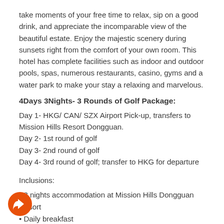take moments of your free time to relax, sip on a good drink, and appreciate the incomparable view of the beautiful estate. Enjoy the majestic scenery during sunsets right from the comfort of your own room. This hotel has complete facilities such as indoor and outdoor pools, spas, numerous restaurants, casino, gyms and a water park to make your stay a relaxing and marvelous.
4Days 3Nights- 3 Rounds of Golf Package:
Day 1- HKG/ CAN/ SZX Airport Pick-up, transfers to Mission Hills Resort Dongguan.
Day 2- 1st round of golf
Day 3- 2nd round of golf
Day 4- 3rd round of golf; transfer to HKG for departure
Inclusions:
• 3 nights accommodation at Mission Hills Dongguan Resort
• Daily breakfast
• Weekday green fees
• Caddie fees